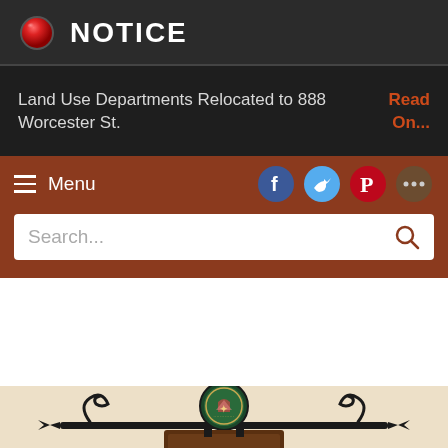NOTICE
Land Use Departments Relocated to 888 Worcester St.
Read On...
Menu
[Figure (screenshot): Navigation menu bar with social media icons (Facebook, Twitter, Pinterest, and more) and a search bar on a brown/rust background]
[Figure (illustration): Decorative wrought iron sign holder with a circular city seal in the center, ornamental scrollwork, and a brown sign plaque below, on a cream background]